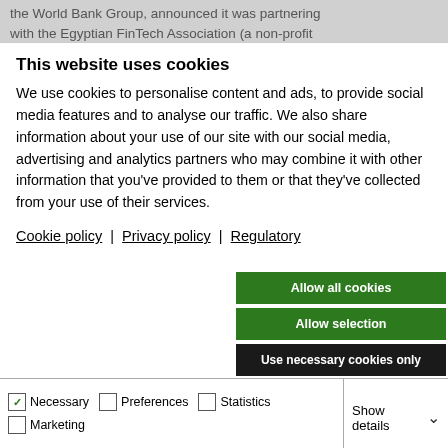the World Bank Group, announced it was partnering with the Egyptian FinTech Association (a non-profit
This website uses cookies
We use cookies to personalise content and ads, to provide social media features and to analyse our traffic. We also share information about your use of our site with our social media, advertising and analytics partners who may combine it with other information that you've provided to them or that they've collected from your use of their services.
Cookie policy | Privacy policy | Regulatory
Allow all cookies
Allow selection
Use necessary cookies only
Necessary  Preferences  Statistics  Marketing  Show details